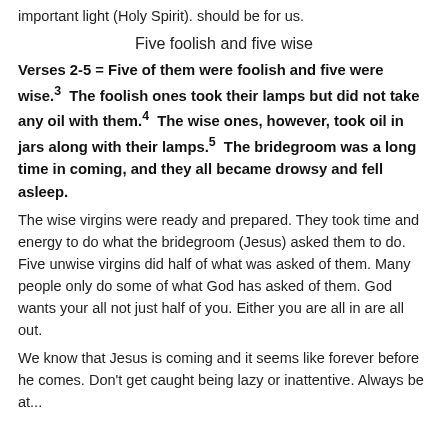important light (Holy Spirit). should be for us.
Five foolish and five wise
Verses 2-5 = Five of them were foolish and five were wise. 3 The foolish ones took their lamps but did not take any oil with them. 4 The wise ones, however, took oil in jars along with their lamps. 5 The bridegroom was a long time in coming, and they all became drowsy and fell asleep.
The wise virgins were ready and prepared. They took time and energy to do what the bridegroom (Jesus) asked them to do. Five unwise virgins did half of what was asked of them. Many people only do some of what God has asked of them. God wants your all not just half of you. Either you are all in are all out.
We know that Jesus is coming and it seems like forever before he comes. Don’t get caught being lazy or inattentive. Always be at...